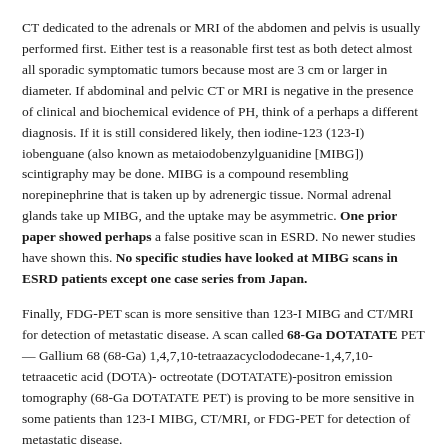CT dedicated to the adrenals or MRI of the abdomen and pelvis is usually performed first. Either test is a reasonable first test as both detect almost all sporadic symptomatic tumors because most are 3 cm or larger in diameter. If abdominal and pelvic CT or MRI is negative in the presence of clinical and biochemical evidence of PH, think of a perhaps a different diagnosis. If it is still considered likely, then iodine-123 (123-I) iobenguane (also known as metaiodobenzylguanidine [MIBG]) scintigraphy may be done. MIBG is a compound resembling norepinephrine that is taken up by adrenergic tissue. Normal adrenal glands take up MIBG, and the uptake may be asymmetric. One prior paper showed perhaps a false positive scan in ESRD. No newer studies have shown this. No specific studies have looked at MIBG scans in ESRD patients except one case series from Japan.
Finally, FDG-PET scan is more sensitive than 123-I MIBG and CT/MRI for detection of metastatic disease. A scan called 68-Ga DOTATATE PET — Gallium 68 (68-Ga) 1,4,7,10-tetraazacyclododecane-1,4,7,10-tetraacetic acid (DOTA)-octreotate (DOTATATE)-positron emission tomography (68-Ga DOTATATE PET) is proving to be more sensitive in some patients than 123-I MIBG, CT/MRI, or FDG-PET for detection of metastatic disease.
So what does one do finally for a CKD-ESRD patient?